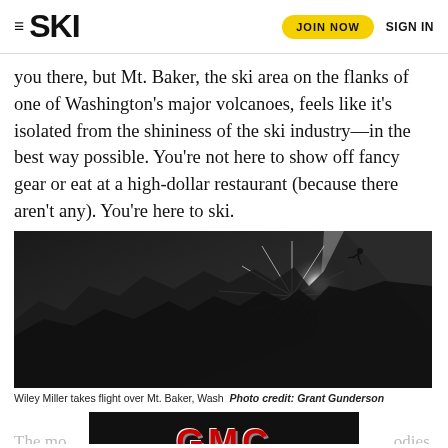SKI | JOIN NOW | SIGN IN
you there, but Mt. Baker, the ski area on the flanks of one of Washington's major volcanoes, feels like it's isolated from the shininess of the ski industry—in the best way possible. You're not here to show off fancy gear or eat at a high-dollar restaurant (because there aren't any). You're here to ski.
[Figure (photo): Black and white photograph of a skier taking flight over Mt. Baker, Washington. A bright starburst sun dominates the upper center of the image, with a steep snow-covered mountain face on the right and jagged mountain ridges silhouetted against a dark sky on the left. The skier is a small silhouette near the top right.]
Wiley Miller takes flight over Mt. Baker, Wash  Photo credit: Grant Gunderson
[Figure (logo): GMC advertisement banner with red metallic GMC text on black background, partially obscured by overlapping article text.]
The mo... odies, exudes a... lewalks